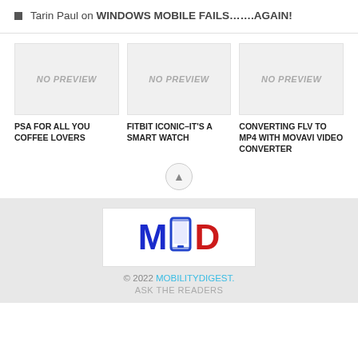Tarin Paul on WINDOWS MOBILE FAILS…….AGAIN!
[Figure (screenshot): Three article preview cards each showing 'NO PREVIEW' placeholder image]
PSA FOR ALL YOU COFFEE LOVERS
FITBIT ICONIC–IT'S A SMART WATCH
CONVERTING FLV TO MP4 WITH MOVAVI VIDEO CONVERTER
[Figure (logo): Mobility Digest logo: M[phone icon]D in blue and red]
© 2022 MOBILITYDIGEST.
ASK THE READERS